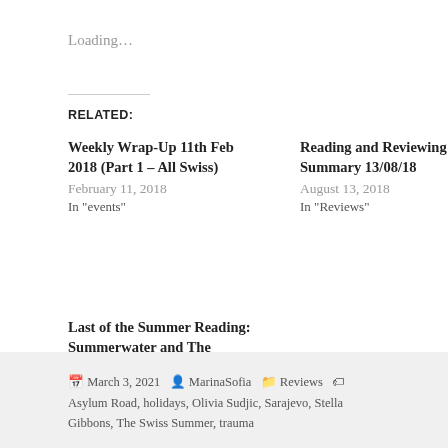Loading...
RELATED:
Weekly Wrap-Up 11th Feb 2018 (Part 1 – All Swiss)
February 11, 2018
In "events"
Reading and Reviewing Summary 13/08/18
August 13, 2018
In "Reviews"
Last of the Summer Reading: Summerwater and The Summer Guest
September 13, 2020
In "Reviews"
March 3, 2021  MarinaSofia  Reviews  Asylum Road, holidays, Olivia Sudjic, Sarajevo, Stella Gibbons, The Swiss Summer, trauma